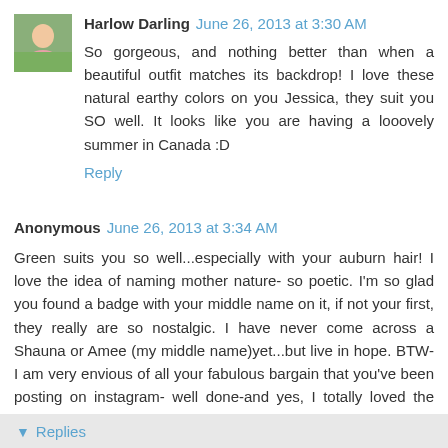[Figure (photo): Small avatar photo of Harlow Darling, showing a person outdoors with green background]
Harlow Darling  June 26, 2013 at 3:30 AM
So gorgeous, and nothing better than when a beautiful outfit matches its backdrop! I love these natural earthy colors on you Jessica, they suit you SO well. It looks like you are having a looovely summer in Canada :D
Reply
Anonymous  June 26, 2013 at 3:34 AM
Green suits you so well...especially with your auburn hair! I love the idea of naming mother nature- so poetic. I'm so glad you found a badge with your middle name on it, if not your first, they really are so nostalgic. I have never come across a Shauna or Amee (my middle name)yet...but live in hope. BTW- I am very envious of all your fabulous bargain that you've been posting on instagram- well done-and yes, I totally loved the pink gloves. xx Shauna
Reply
Replies